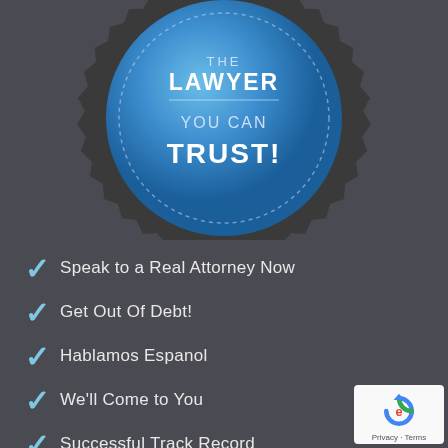[Figure (illustration): Blue seal/badge with zigzag border and dotted circle inside, containing text 'THE LAWYER YOU CAN TRUST!' on a dark grey background]
Speak to a Real Attorney Now
Get Out Of Debt!
Hablamos Espanol
We'll Come to You
Successful Track Record
Our Clients Mean More Than Money
[Figure (logo): reCAPTCHA logo with Privacy and Terms text]